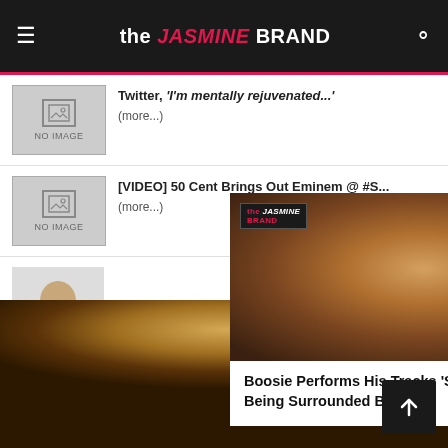the JASMINE BRAND
Twitter, 'I'm mentally rejuvenated...' (more...)
[VIDEO] 50 Cent Brings Out Eminem @ #S... (more...)
[Ex... Lis... (more...)
POST SLIDER
EXCLUSIVE
[Figure (screenshot): Video overlay showing a man's face with The Jasmine Brand watermark and caption: Boosie Performs His Tracks 'Set It Off' & 'F*ck The Police' While Being Surrounded By C...]